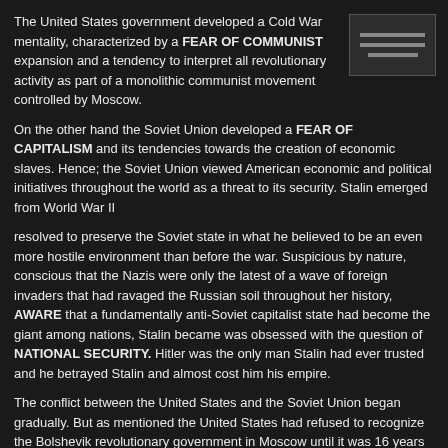The United States government developed a Cold War mentality, characterized by a FEAR OF COMMUNIST expansion and a tendency to interpret all revolutionary activity as part of a monolithic communist movement controlled by Moscow.
On the other hand the Soviet Union developed a FEAR OF CAPITALISM and its tendencies towards the creation of economic slaves. Hence; the Soviet Union viewed American economic and political initiatives throughout the world as a threat to its security. Stalin emerged from World War II
resolved to preserve the Soviet state in what he believed to be an even more hostile environment than before the war. Suspicious by nature, conscious that the Nazis were only the latest of a wave of foreign invaders that had ravaged the Russian soil throughout her history, AWARE that a fundamentally anti-Soviet capitalist state had become the giant among nations, Stalin became was obsessed with the question of NATIONAL SECURITY. Hitler was the only man Stalin had ever trusted and he betrayed Stalin and almost cost him his empire.
The conflict between the United States and the Soviet Union began gradually. But as mentioned the United States had refused to recognize the Bolshevik revolutionary government in Moscow until it was 16 years old, in 1933. More important Soviet suspicions of the West began to become very strong in 1942 and again in 1943 when the British and United States twice delayed in opening up a SECOND FRONT against Germany, while the red army paid a ghastly price to roll the Nazi invaders back across Russia and Eastern Europe.
For two years (1945-47) after World War II the nations tried to adjust their differences over the National Front...